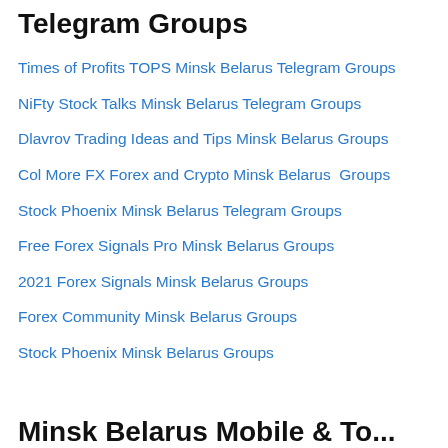Telegram Groups
Times of Profits TOPS Minsk Belarus Telegram Groups
NiFty Stock Talks Minsk Belarus Telegram Groups
Dlavrov Trading Ideas and Tips Minsk Belarus Groups
Col More FX Forex and Crypto Minsk Belarus  Groups
Stock Phoenix Minsk Belarus Telegram Groups
Free Forex Signals Pro Minsk Belarus Groups
2021 Forex Signals Minsk Belarus Groups
Forex Community Minsk Belarus Groups
Stock Phoenix Minsk Belarus Groups
Minsk Belarus Mobile & To...